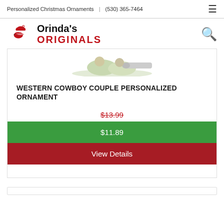Personalized Christmas Ornaments | (530) 365-7464
[Figure (logo): Orinda's Originals logo with red bird/ornament icon, text 'Orinda's ORIGINALS']
[Figure (photo): Western cowboy couple personalized ornament product image]
WESTERN COWBOY COUPLE PERSONALIZED ORNAMENT
$13.99 (strikethrough original price)
$11.89 (sale price)
View Details